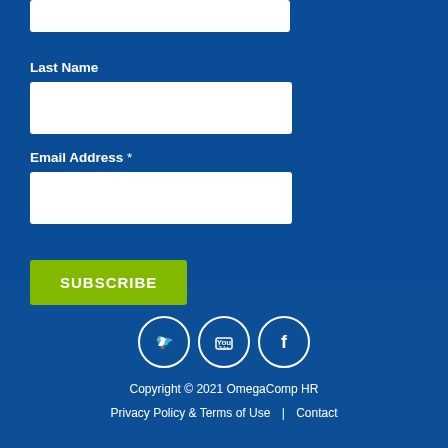Last Name
[Figure (screenshot): White input text field for Last Name]
Email Address *
[Figure (screenshot): White input text field for Email Address]
SUBSCRIBE
[Figure (illustration): Three social media icons in white circles: Twitter, YouTube, Facebook]
Copyright © 2021 OmegaComp HR
Privacy Policy & Terms of Use | Contact